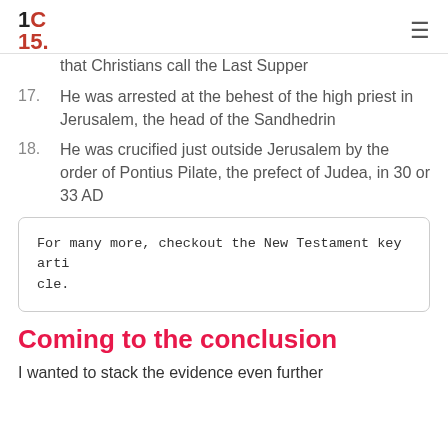1C 15.
that Christians call the Last Supper
17. He was arrested at the behest of the high priest in Jerusalem, the head of the Sandhedrin
18. He was crucified just outside Jerusalem by the order of Pontius Pilate, the prefect of Judea, in 30 or 33 AD
For many more, checkout the New Testament key article.
Coming to the conclusion
I wanted to stack the evidence even further